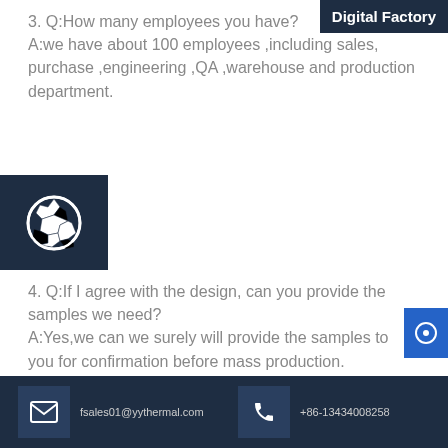Digital Factory
3. Q:How many employees you have?
A:we have about 100 employees ,including sales, purchase ,engineering ,QA ,warehouse and production department.
[Figure (illustration): Dark navy blue square block with a white soccer ball / help icon in the center]
4. Q:If I agree with the design, can you provide the samples we need?
A:Yes,we can we surely will provide the samples to you for confirmation before mass production. Meanwhile the drawing we could provide if needed
fsales01@yythermal.com   +86-13434008258